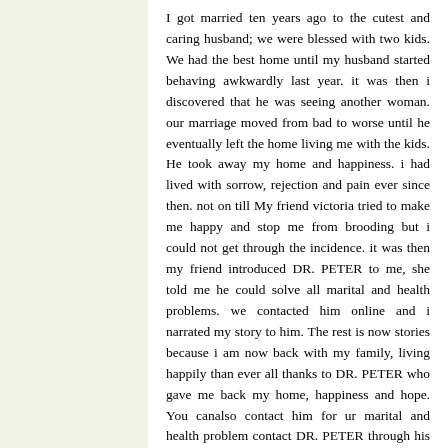I got married ten years ago to the cutest and caring husband; we were blessed with two kids. We had the best home until my husband started behaving awkwardly last year. it was then i discovered that he was seeing another woman. our marriage moved from bad to worse until he eventually left the home living me with the kids. He took away my home and happiness. i had lived with sorrow, rejection and pain ever since then. not on till My friend victoria tried to make me happy and stop me from brooding but i could not get through the incidence. it was then my friend introduced DR. PETER to me, she told me he could solve all marital and health problems. we contacted him online and i narrated my story to him. The rest is now stories because i am now back with my family, living happily than ever all thanks to DR. PETER who gave me back my home, happiness and hope. You canalso contact him for ur marital and health problem contact DR. PETER through his email address: MAGNIFICENTSPELLCAST@GMAIL.COM    or You can call/whatsapp him +2348125435799.and get